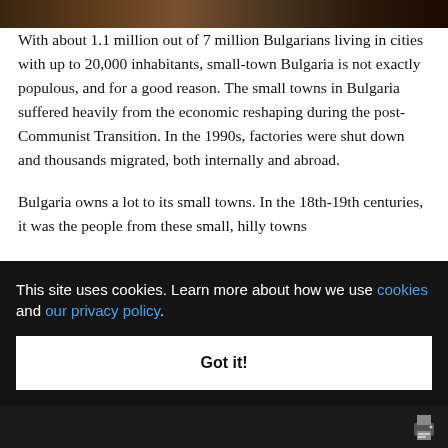[Figure (photo): Partial view of a Bulgarian small-town street scene at the very top of the page.]
With about 1.1 million out of 7 million Bulgarians living in cities with up to 20,000 inhabitants, small-town Bulgaria is not exactly populous, and for a good reason. The small towns in Bulgaria suffered heavily from the economic reshaping during the post-Communist Transition. In the 1990s, factories were shut down and thousands migrated, both internally and abroad.
Bulgaria owns a lot to its small towns. In the 18th-19th centuries, it was the people from these small, hilly towns ... the ... wealth ... homes – ... lgarian
[Figure (screenshot): Cookie consent banner overlay with black background. Text reads: 'This site uses cookies. Learn more about how we use cookies and our privacy policy.' with a 'Got it!' button.]